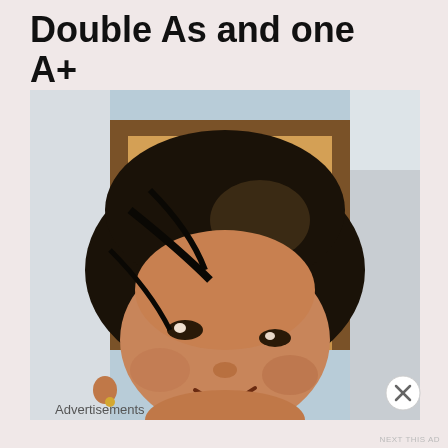Double As and one A+
[Figure (photo): A child smiling closely at the camera, with dark hair and a wooden door/frame visible in the background. The image appears to be a selfie-style video screenshot.]
Advertisements